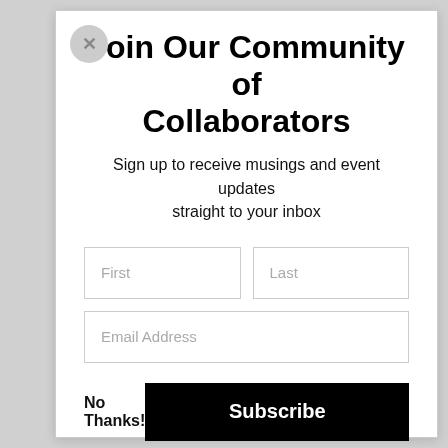Join Our Community of Collaborators
Sign up to receive musings and event updates straight to your inbox
[Figure (screenshot): Sign-up form with First, Last, and Email Address input fields]
No Thanks!
Subscribe